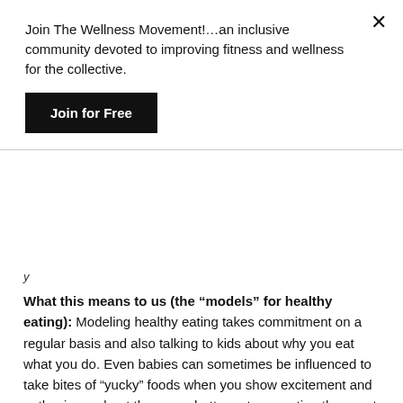Join The Wellness Movement!…an inclusive community devoted to improving fitness and wellness for the collective.
Join for Free
y
What this means to us (the “models” for healthy eating):
Modeling healthy eating takes commitment on a regular basis and also talking to kids about why you eat what you do. Even babies can sometimes be influenced to take bites of “yucky” foods when you show excitement and enthusiasm about them – or better yet, are eating the exact same thing in front of them. I understand that it’s unrealistic to expect people to eat healthy foods 24/7. I like to indulge a bit too. So, when you do go off the “healthy-food menu” simply make sure that you keep portions small for children (if you offer any at all) and discuss how certain foods are for unique occasions, and that if we ate them all the time, they